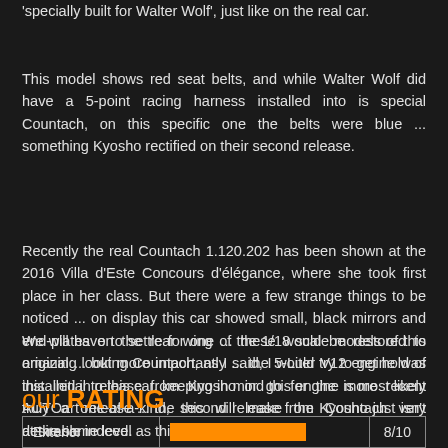'specially built for Walter Wolf', just like on the real car.
This model shows red seat belts, and while Walter Wolf did have a 5-point racing harness installed into is special Countach, on this specific one the belts were blue ... something Kyosho rectified on their second release.
Recently the real Countach 1.120.202 has been shown at the 2016 Villa d'Este Concours d'élégance, where she took first place in her class. But there were a few strange things to be noticed ... on display this car showed small, black mirrors and end-plates on the rear wing ... these would be restored to original ... but more importantly ... the 5-Liter V12 engine was installed into this car, keeping in mind this engine is most likely truly a one-of-a-kind, this will make the Countach very desirable indeed.
We will have to settle for one of the 1/18 scale models of this amazing looking Countach, as I said, I would try to get hold of this initial release from Kyosho or go for the more recent AUTOart release ... the second release from Kyosho just isn't at the same level as this first one.
Originally released in February 2009.
our RATING
| Exterior | bar | 8/10 |
| --- | --- | --- |